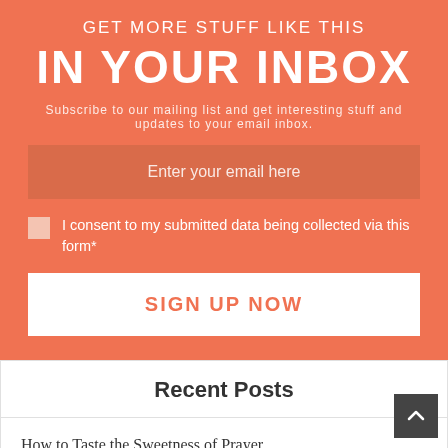GET MORE STUFF LIKE THIS IN YOUR INBOX
Subscribe to our mailing list and get interesting stuff and updates to your email inbox.
Enter your email here
I consent to my submitted data being collected via this form*
SIGN UP NOW
Recent Posts
How to Taste the Sweetness of Prayer
A Gift for the 27th Night: Ramadan Duà' with English